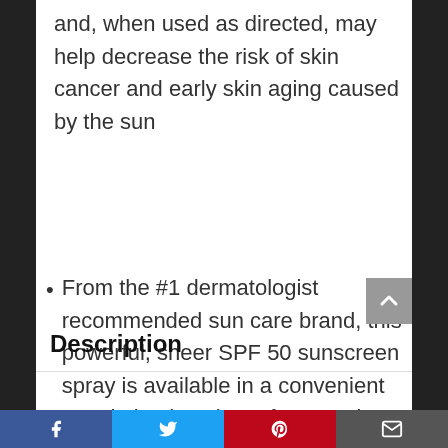and, when used as directed, may help decrease the risk of skin cancer and early skin aging caused by the sun
From the #1 dermatologist recommended sun care brand, this powerful, sheer SPF 50 sunscreen spray is available in a convenient travel-sized package for superior sun protection on-the-go
Description